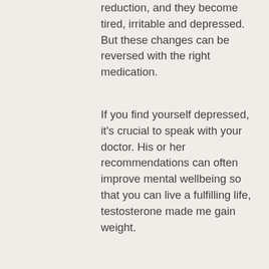reduction, and they become tired, irritable and depressed. But these changes can be reversed with the right medication.
If you find yourself depressed, it's crucial to speak with your doctor. His or her recommendations can often improve mental wellbeing so that you can live a fulfilling life, testosterone made me gain weight.
What Men Can Do About Low T
What can men do about low testosterone, test cyp only cycle results? Most men over age 50 need no prescription drugs to live longer, made testosterone gain me weight. But a few of you may find that you're suffering from low T.
Testosterone replacement therapies like the birth control pill or testosterone patch can help to boost your vital male hormone